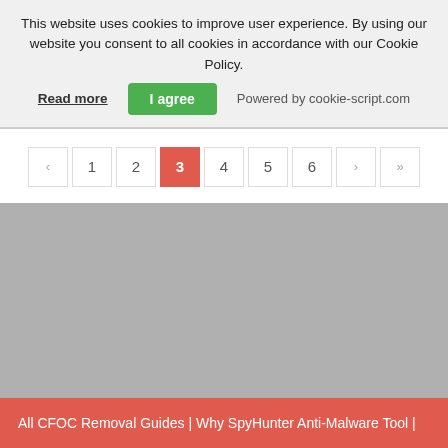This website uses cookies to improve user experience. By using our website you consent to all cookies in accordance with our Cookie Policy.
Read more   I agree   Powered by cookie-script.com
‹ 1 2 3 4 5 6 › »
[Figure (other): Gray placeholder area for content]
All CFOC Removal Guides | Why SpyHunter Anti-Malware Tool |